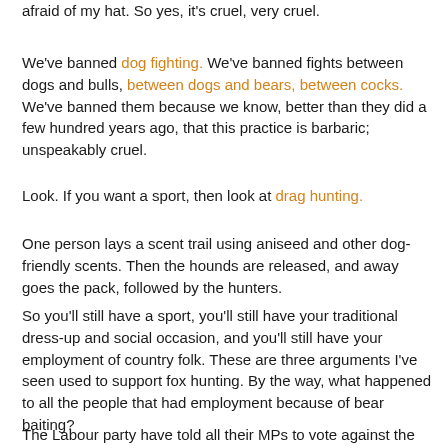afraid of my hat. So yes, it's cruel, very cruel.
We've banned dog fighting. We've banned fights between dogs and bulls, between dogs and bears, between cocks. We've banned them because we know, better than they did a few hundred years ago, that this practice is barbaric; unspeakably cruel.
Look. If you want a sport, then look at drag hunting.
One person lays a scent trail using aniseed and other dog-friendly scents. Then the hounds are released, and away goes the pack, followed by the hunters.
So you'll still have a sport, you'll still have your traditional dress-up and social occasion, and you'll still have your employment of country folk. These are three arguments I've seen used to support fox hunting. By the way, what happened to all the people that had employment because of bear baiting?
The Labour party have told all their MPs to vote against the